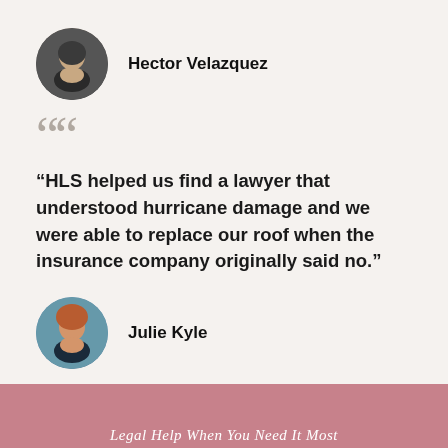[Figure (photo): Circular avatar photo of Hector Velazquez, a man with dark hair against a dark background]
Hector Velazquez
“HLS helped us find a lawyer that understood hurricane damage and we were able to replace our roof when the insurance company originally said no.”
[Figure (photo): Circular avatar photo of Julie Kyle, a woman with reddish hair against a blue-tinted background]
Julie Kyle
Legal Help When You Need It Most